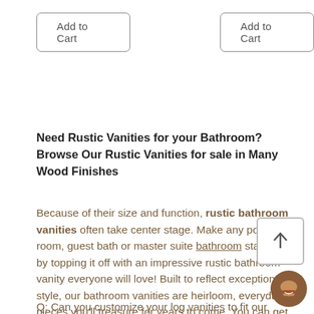Add to Cart
Add to Cart
Need Rustic Vanities for your Bathroom? Browse Our Rustic Vanities for sale in Many Wood Finishes
Because of their size and function, rustic bathroom vanities often take center stage. Make any powder room, guest bath or master suite bathroom stand out by topping it off with an impressive rustic bathroom vanity everyone will love! Built to reflect exceptional style, our bathroom vanities are heirloom, everyday pieces you'll treasure for years to come. You can get much deeper into that country feeling than with our unique rustic vanity designs made from cedar, hickory, walnut, aspen and naturally sourced barnwood..
Q: Can you customize your log vanities to fit our